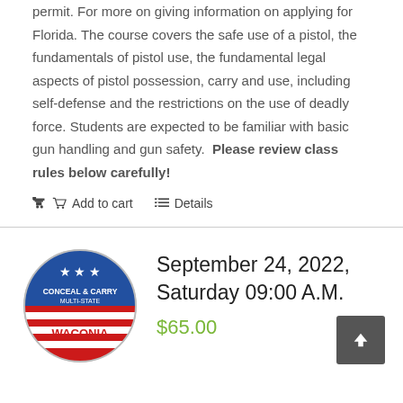permit. For more on giving information on applying for Florida. The course covers the safe use of a pistol, the fundamentals of pistol use, the fundamental legal aspects of pistol possession, carry and use, including self-defense and the restrictions on the use of deadly force. Students are expected to be familiar with basic gun handling and gun safety.  Please review class rules below carefully!
Add to cart   Details
[Figure (logo): Circular badge logo with blue top half showing stars, text CONCEAL & CARRY MULTI-STATE, and WACONIA in red, with red and white stripes on the bottom]
September 24, 2022, Saturday 09:00 A.M.
$65.00